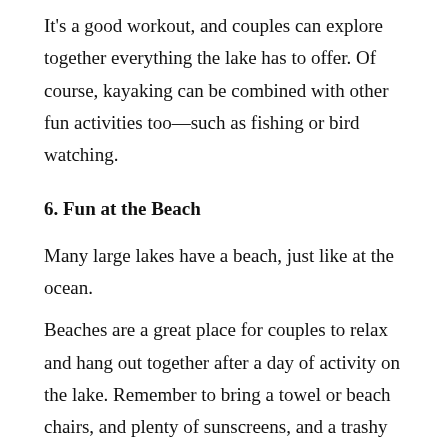It's a good workout, and couples can explore together everything the lake has to offer. Of course, kayaking can be combined with other fun activities too—such as fishing or bird watching.
6. Fun at the Beach
Many large lakes have a beach, just like at the ocean.
Beaches are a great place for couples to relax and hang out together after a day of activity on the lake. Remember to bring a towel or beach chairs, and plenty of sunscreens, and a trashy paperback if you have one.
7. Hiking